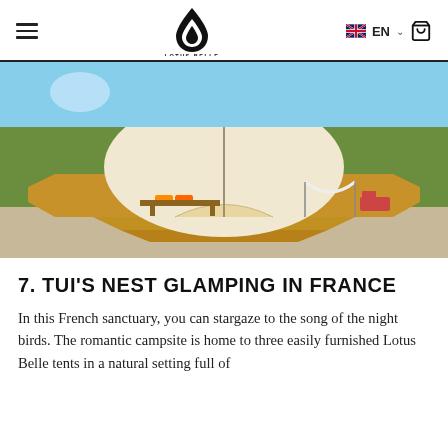LOTUS-BELLE — EN (navigation header with logo)
[Figure (photo): A large glamping tent (Lotus Belle style) on a raised wooden octagonal deck with stairs, surrounded by gravel, with outdoor furniture including benches with orange cushions, a hammock, and lounge chairs. Green trees and blue sky in the background.]
7. TUI'S NEST GLAMPING IN FRANCE
In this French sanctuary, you can stargaze to the song of the night birds. The romantic campsite is home to three easily furnished Lotus Belle tents in a natural setting full of